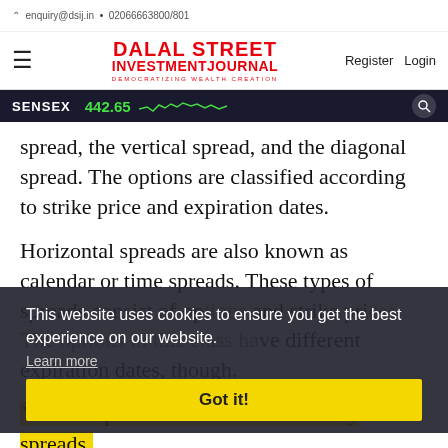enquiry@dsij.in • 02066663800/801
[Figure (logo): Dalal Street Investment Journal logo — DALAL STREET INVESTMENTJOURNAL DEMOCRATIZING WEALTH CREATION in red]
Register  Login
SENSEX  442.65
spread, the vertical spread, and the diagonal spread. The options are classified according to strike price and expiration dates.
Horizontal spreads are also known as calendar or time spreads. These types of spreads consist of options and strike prices. The options in this class have different expiration dates, though.
Vertical spreads are also called money spreads. These spreads contain options with the same underlying security and expiration month. However,
This website uses cookies to ensure you get the best experience on our website.
Learn more
Got it!